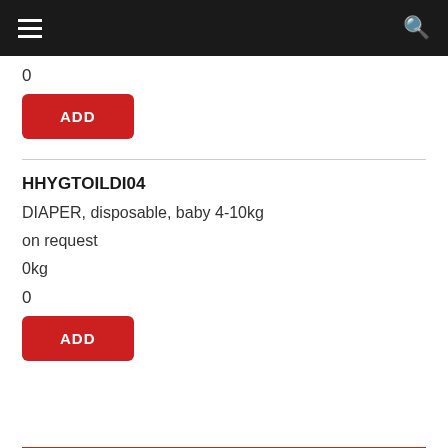Navigation header with hamburger menu and search icon
0
ADD
HHYGTOILDI04
DIAPER, disposable, baby 4-10kg
on request
0kg
0
ADD